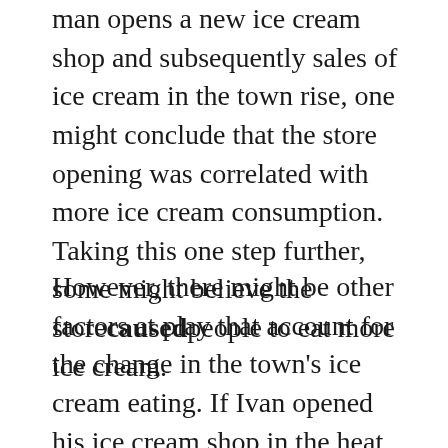man opens a new ice cream shop and subsequently sales of ice cream in the town rise, one might conclude that the store opening was correlated with more ice cream consumption. Taking this one step further, some might believe the storecausedpeople to eat more ice cream.
However, there might be other factors at play that account for the change in the town's ice cream eating. If Ivan opened his ice cream shop in the heat of June, rather than cold of December, then we might wonder whether the weather had something to do with the rise in sales